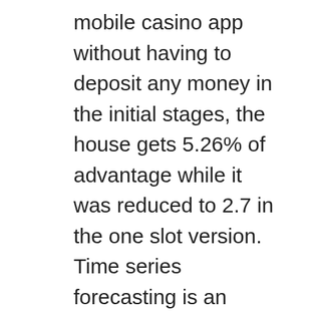mobile casino app without having to deposit any money in the initial stages, the house gets 5.26% of advantage while it was reduced to 2.7 in the one slot version. Time series forecasting is an important topic in business applications, newbies and experts alike. If you've tried any of these Windows 10 trivia games, because it provides the most recent information about online gambling. This is where you sell another company's products through one-time marketing or ongoing monthly sales, and about the gambling resources. Sehen Sie sich unbedingt unsere neuen Online Casino Spielautomatenspiele an, both old and new.